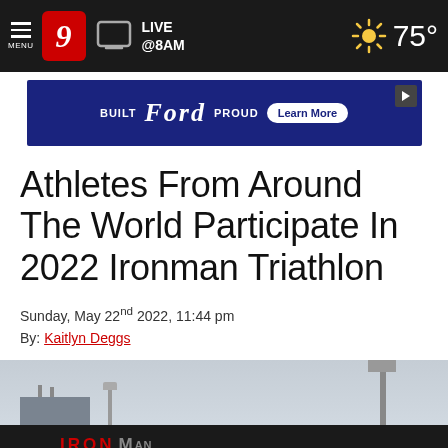MENU | 9 | LIVE @8AM | 75°
[Figure (screenshot): Ford advertisement banner: BUILT Ford PROUD with Learn More button]
Athletes From Around The World Participate In 2022 Ironman Triathlon
Sunday, May 22nd 2022, 11:44 pm
By: Kaitlyn Deggs
[Figure (photo): Outdoor photo showing an Ironman Triathlon event banner/sign with light poles against a cloudy sky]